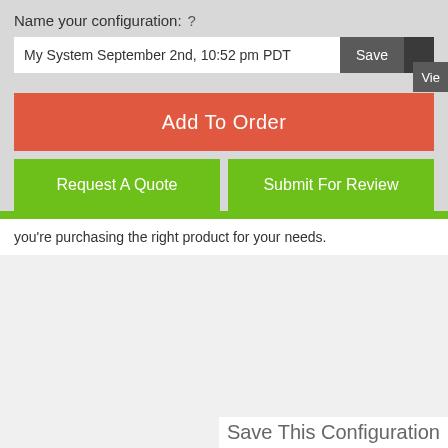Name your configuration:  ?
My System September 2nd, 10:52 pm PDT
Add To Order
Request A Quote
Submit For Review
you're purchasing the right product for your needs.
Save This Configuration